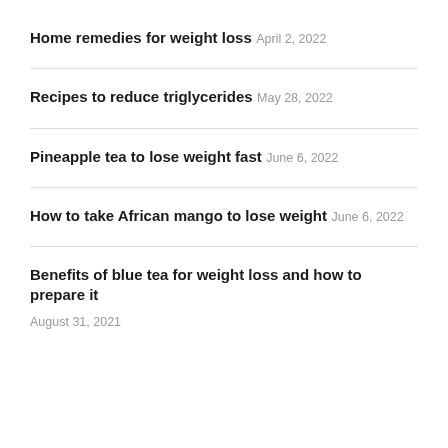Home remedies for weight loss
April 2, 2022
Recipes to reduce triglycerides
May 28, 2022
Pineapple tea to lose weight fast
June 6, 2022
How to take African mango to lose weight
June 6, 2022
Benefits of blue tea for weight loss and how to prepare it
August 31, 2021